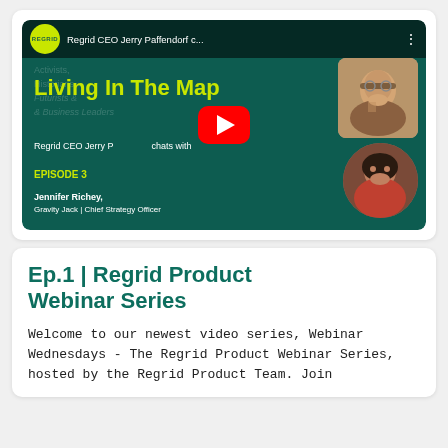[Figure (screenshot): YouTube video thumbnail for 'Living In The Map' podcast, Episode 3, Regrid CEO Jerry Paffendorf chats with Jennifer Richey, Gravity Jack Chief Strategy Officer. Dark teal background with yellow-green title text, YouTube play button overlay, photos of two guests.]
Ep.1 | Regrid Product Webinar Series
Welcome to our newest video series, Webinar Wednesdays - The Regrid Product Webinar Series, hosted by the Regrid Product Team. Join